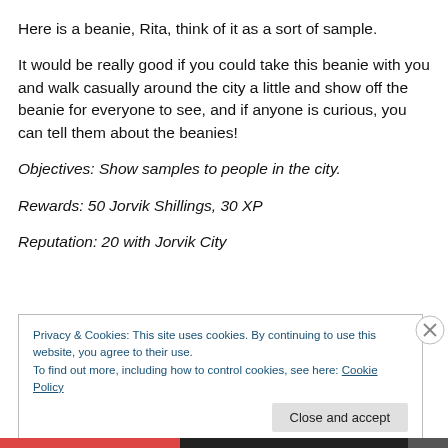Here is a beanie, Rita, think of it as a sort of sample.
It would be really good if you could take this beanie with you and walk casually around the city a little and show off the beanie for everyone to see, and if anyone is curious, you can tell them about the beanies!
Objectives: Show samples to people in the city.
Rewards: 50 Jorvik Shillings, 30 XP
Reputation: 20 with Jorvik City
Privacy & Cookies: This site uses cookies. By continuing to use this website, you agree to their use.
To find out more, including how to control cookies, see here: Cookie Policy
Close and accept